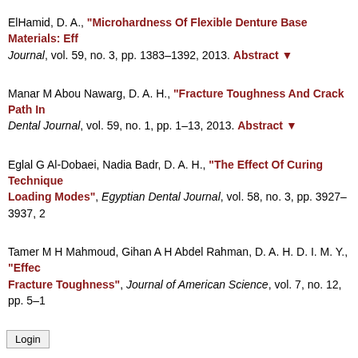ElHamid, D. A., "Microhardness Of Flexible Denture Base Materials: Eff...", Journal, vol. 59, no. 3, pp. 1383–1392, 2013. Abstract ▼
Manar M Abou Nawarg, D. A. H., "Fracture Toughness And Crack Path In...", Dental Journal, vol. 59, no. 1, pp. 1–13, 2013. Abstract ▼
Eglal G Al-Dobaei, Nadia Badr, D. A. H., "The Effect Of Curing Technique... Loading Modes", Egyptian Dental Journal, vol. 58, no. 3, pp. 3927–3937, 2...
Tamer M H Mahmoud, Gihan A H Abdel Rahman, D. A. H. D. I. M. Y., "Effec... Fracture Toughness", Journal of American Science, vol. 7, no. 12, pp. 5–1...